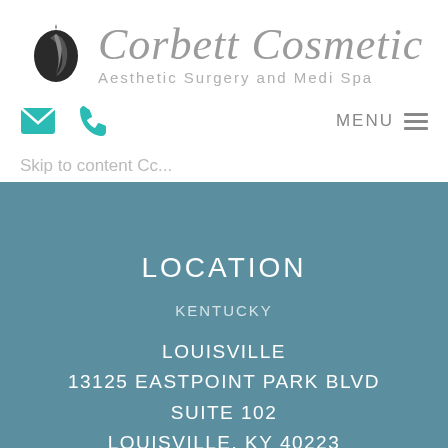[Figure (logo): Corbett Cosmetic Aesthetic Surgery and Medi Spa logo with stylized hair/spiral icon and script text]
[Figure (infographic): Navigation bar with teal email icon, teal phone icon on left, and MENU with hamburger lines on right]
Skip to content Cc...
LOCATION
KENTUCKY
LOUISVILLE
13125 EASTPOINT PARK BLVD
SUITE 102
LOUISVILLE, KY 40223
PHONE